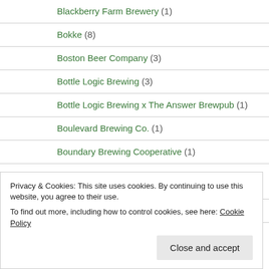Blackberry Farm Brewery (1)
Bokke (8)
Boston Beer Company (3)
Bottle Logic Brewing (3)
Bottle Logic Brewing x The Answer Brewpub (1)
Boulevard Brewing Co. (1)
Boundary Brewing Cooperative (1)
Boundary Brewing Cooperative x Ulster Exile Brewers x Brick Brewery x Bullfinch Brewery (1)
Brasserie Artisanale du Luberon (2)
Privacy & Cookies: This site uses cookies. By continuing to use this website, you agree to their use. To find out more, including how to control cookies, see here: Cookie Policy
Close and accept